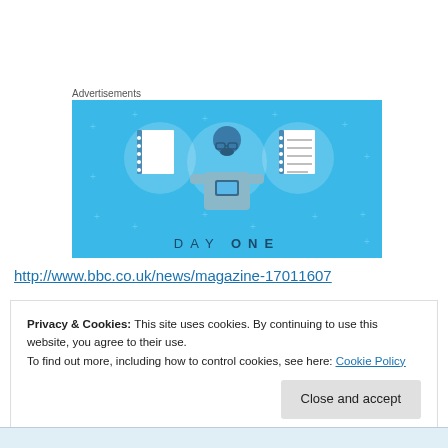Advertisements
[Figure (illustration): Day One app advertisement banner with blue background showing a person holding a phone flanked by two notebook icons, with 'DAY ONE' text at the bottom]
http://www.bbc.co.uk/news/magazine-17011607
Privacy & Cookies: This site uses cookies. By continuing to use this website, you agree to their use.
To find out more, including how to control cookies, see here: Cookie Policy
Close and accept